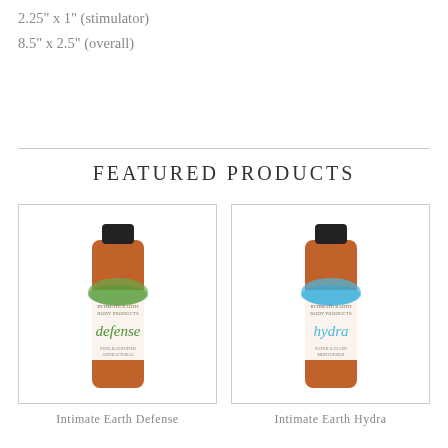2.25"  x  1" (stimulator)
8.5"  x  2.5" (overall)
FEATURED PRODUCTS
[Figure (photo): Bottle of Intimate Earth Defense lubricant with green label]
Intimate Earth Defense
[Figure (photo): Bottle of Intimate Earth Hydra lubricant with blue label]
Intimate Earth Hydra